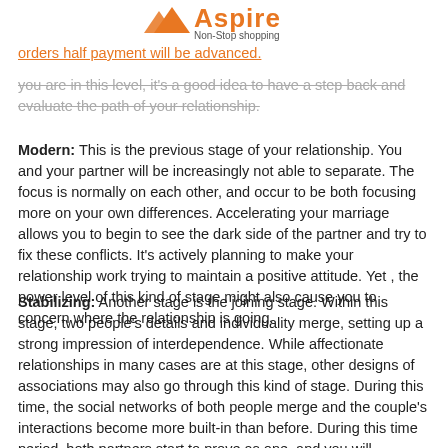[Figure (logo): Aspire Non-Stop shopping logo with orange arrow/mountain icon]
orders half payment will be advanced.
you are in this level, it's a good idea to have a step back and evaluate the path of your relationship.
Modern: This is the previous stage of your relationship. You and your partner will be increasingly not able to separate. The focus is normally on each other, and occur to be both focusing more on your own differences. Accelerating your marriage allows you to begin to see the dark side of the partner and try to fix these conflicts. It's actively planning to make your relationship work trying to maintain a positive attitude. Yet , the power level of this kind of stage might also cause you to concern where the relationship is going.
Stabilizing: Another stage is the joining stage. Within this stage, two people's details and individuality merge, setting up a strong impression of interdependence. While affectionate relationships in many cases are at this stage, other designs of associations may also go through this kind of stage. During this time, the social networks of both people merge and the couple's interactions become more built-in than before. During this time period, both partners start to prove as one, and you will